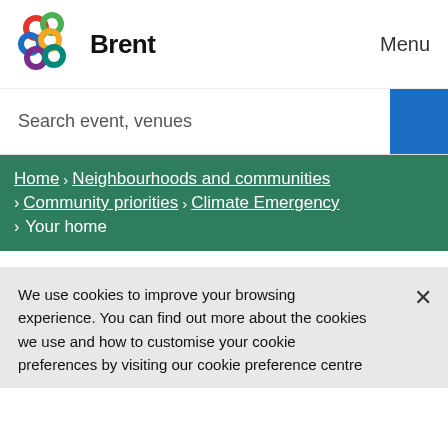[Figure (logo): Brent Council colourful interlocking loops logo alongside the text 'Brent']
Menu
Search event, venues
Home > Neighbourhoods and communities > Community priorities > Climate Emergency > Your home
We use cookies to improve your browsing experience. You can find out more about the cookies we use and how to customise your cookie preferences by visiting our cookie preference centre